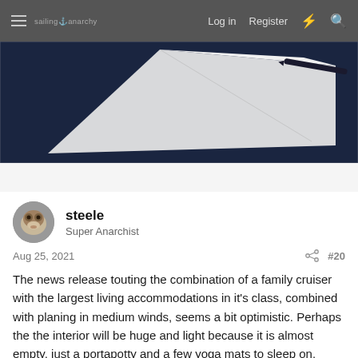sailing anarchy  Log in  Register
[Figure (photo): Partial view of a sailing boat hull or document on a dark navy background, with a pen visible]
steele
Super Anarchist
Aug 25, 2021  #20
The news release touting the combination of a family cruiser with the largest living accommodations in it's class, combined with planing in medium winds, seems a bit optimistic. Perhaps the the interior will be huge and light because it is almost empty, just a portapotty and a few yoga mats to sleep on.